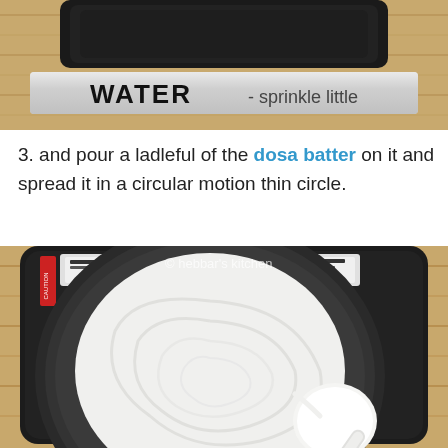[Figure (photo): Top-down view of a dark pan/tawa on a wooden surface with a label reading WATER - sprinkle little on a metallic/silver banner overlay]
3. and pour a ladleful of the dosa batter on it and spread it in a circular motion thin circle.
[Figure (photo): Top-down view of a dark electric griddle/tawa with white dosa batter being spread in circular spiral motion using a ladle. Watermark reads © hebbar's kitchen.]